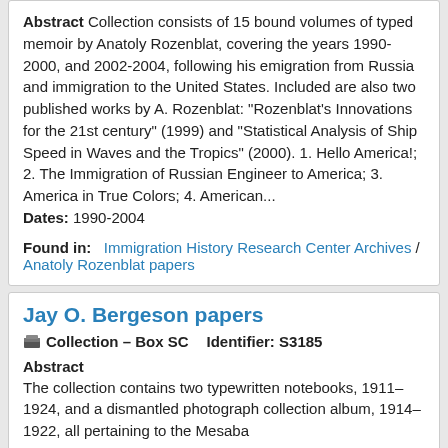Abstract Collection consists of 15 bound volumes of typed memoir by Anatoly Rozenblat, covering the years 1990-2000, and 2002-2004, following his emigration from Russia and immigration to the United States. Included are also two published works by A. Rozenblat: "Rozenblat's Innovations for the 21st century" (1999) and "Statistical Analysis of Ship Speed in Waves and the Tropics" (2000). 1. Hello America!; 2. The Immigration of Russian Engineer to America; 3. America in True Colors; 4. American... Dates: 1990-2004
Found in: Immigration History Research Center Archives / Anatoly Rozenblat papers
Jay O. Bergeson papers
Collection – Box SC    Identifier: S3185
Abstract
The collection contains two typewritten notebooks, 1911–1924, and a dismantled photograph collection album, 1914–1922, all pertaining to the Mesaba